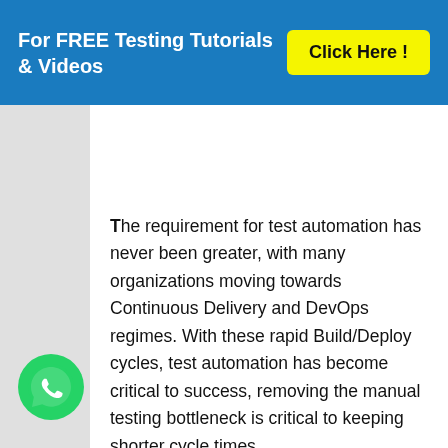For FREE Testing Tutorials & Videos   Click Here !
The requirement for test automation has never been greater, with many organizations moving towards Continuous Delivery and DevOps regimes. With these rapid Build/Deploy cycles, test automation has become critical to success, removing the manual testing bottleneck is critical to keeping shorter cycle times.
[Figure (logo): WhatsApp logo green circle with phone icon]